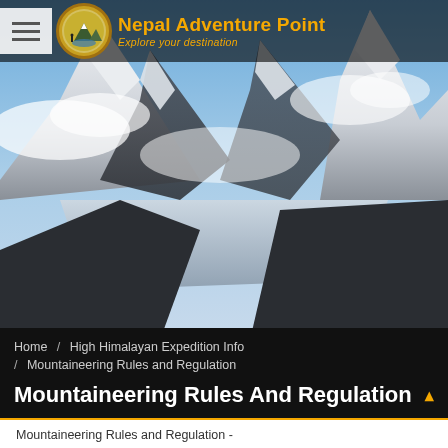[Figure (logo): Nepal Adventure Point circular logo with mountain silhouette and trekker figure]
Nepal Adventure Point — Explore your destination
[Figure (photo): Panoramic photo of snow-capped Himalayan peaks with clouds]
Home / High Himalayan Expedition Info / Mountaineering Rules and Regulation
Mountaineering Rules And Regulation
Mountaineering Rules and Regulation -
Government of Nepal has made the following rules by exercising the